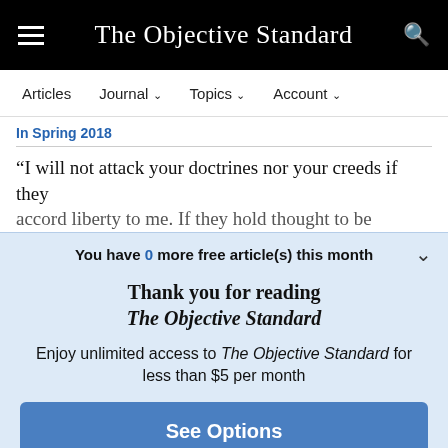The Objective Standard
Articles  Journal  Topics  Account
In Spring 2018
“I will not attack your doctrines nor your creeds if they accord liberty to me. If they hold thought to be
You have 0 more free article(s) this month
Thank you for reading The Objective Standard
Enjoy unlimited access to The Objective Standard for less than $5 per month
See Options
Already a subscriber? Log in